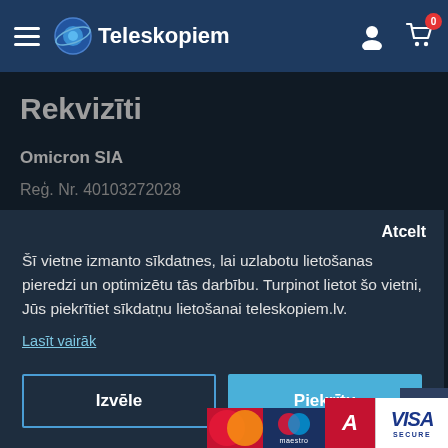Teleskopiem
Rekvizīti
Omicron SIA
Reģ. Nr. 40103272028
Šī vietne izmanto sīkdatnes, lai uzlabotu lietošanas pieredzi un optimizētu tās darbību. Turpinot lietot šo vietni, Jūs piekrītiet sīkdatņu lietošanai teleskopiem.lv.
Lasīt vairāk
Izvēle
Piekrītu